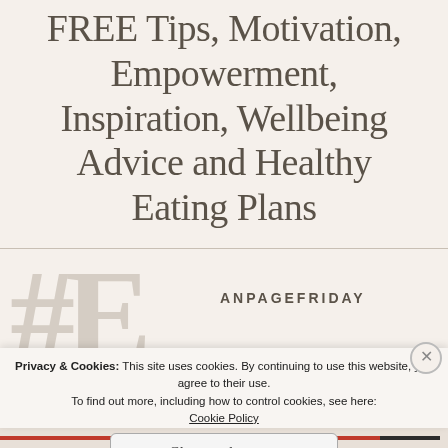FREE Tips, Motivation, Empowerment, Inspiration, Wellbeing Advice and Healthy Eating Plans
#F ANPAGEFRIDAY
Privacy & Cookies: This site uses cookies. By continuing to use this website, you agree to their use. To find out more, including how to control cookies, see here: Cookie Policy
Close and accept